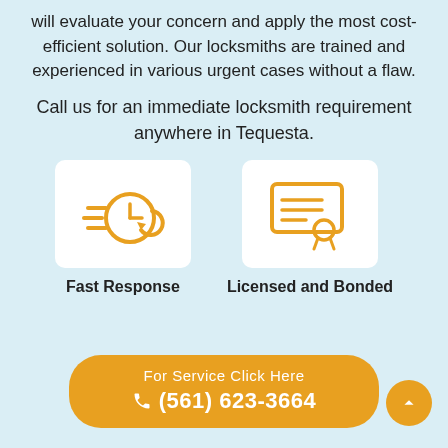will evaluate your concern and apply the most cost-efficient solution. Our locksmiths are trained and experienced in various urgent cases without a flaw.
Call us for an immediate locksmith requirement anywhere in Tequesta.
[Figure (illustration): Orange clock with speed lines icon on white card, labeled Fast Response]
Fast Response
[Figure (illustration): Orange certificate/license icon on white card, labeled Licensed and Bonded]
Licensed and Bonded
For Service Click Here
☎ (561) 623-3664